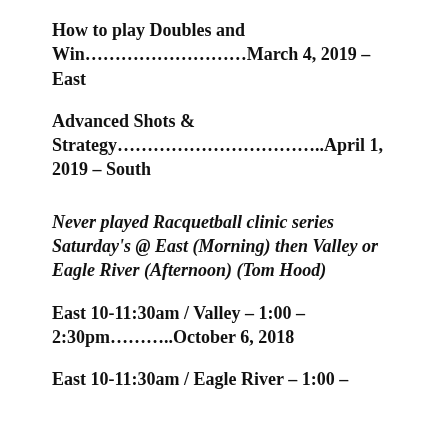How to play Doubles and Win………………………March 4, 2019 – East
Advanced Shots & Strategy……………………………..April 1, 2019 – South
Never played Racquetball clinic series Saturday's @ East (Morning) then Valley or Eagle River (Afternoon) (Tom Hood)
East 10-11:30am / Valley – 1:00 – 2:30pm………..October 6, 2018
East 10-11:30am / Eagle River – 1:00 –